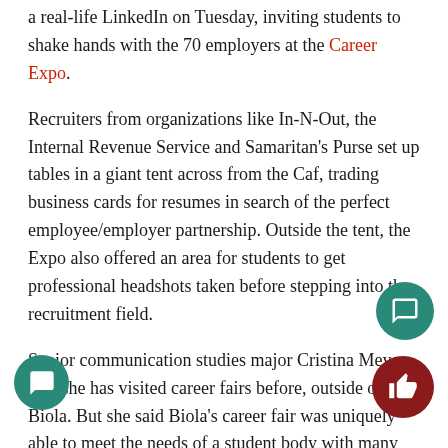a real-life LinkedIn on Tuesday, inviting students to shake hands with the 70 employers at the Career Expo.
Recruiters from organizations like In-N-Out, the Internal Revenue Service and Samaritan's Purse set up tables in a giant tent across from the Caf, trading business cards for resumes in search of the perfect employee/employer partnership. Outside the tent, the Expo also offered an area for students to get professional headshots taken before stepping into the recruitment field.
Senior communication studies major Cristina Meyer said she has visited career fairs before, outside of Biola. But she said Biola's career fair was uniquely able to meet the needs of a student body with many different passions.
“The difference is the amount of opportunities,” she said. “There’s a wide-scale here, versus where I was at a different school and there was less opportunity for non-profits and